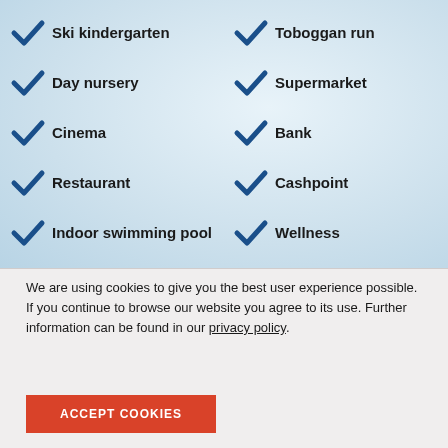✓ Ski kindergarten
✓ Toboggan run
✓ Day nursery
✓ Supermarket
✓ Cinema
✓ Bank
✓ Restaurant
✓ Cashpoint
✓ Indoor swimming pool
✓ Wellness
We are using cookies to give you the best user experience possible. If you continue to browse our website you agree to its use. Further information can be found in our privacy policy.
ACCEPT COOKIES